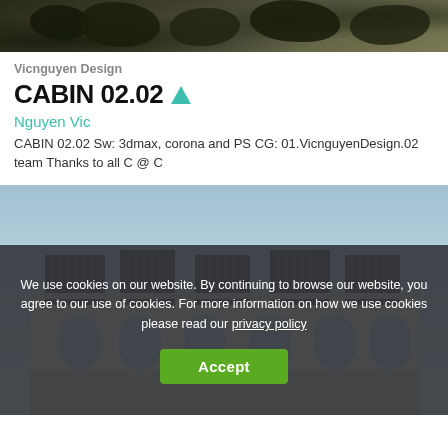[Figure (photo): Top portion of a photo showing dark foliage/trees against a dark background]
Vicnguyen Design
CABIN 02.02 ▲
Nguyen Vic
CABIN 02.02 Sw: 3dmax, corona and PS CG: 01.VicnguyenDesign.02 team Thanks to all C @ C
[Figure (photo): Architectural rendering of a classic European-style building with ornate white facade, mansard roof details, and arched windows against a blue sky]
We use cookies on our website. By continuing to browse our website, you agree to our use of cookies. For more information on how we use cookies please read our privacy policy